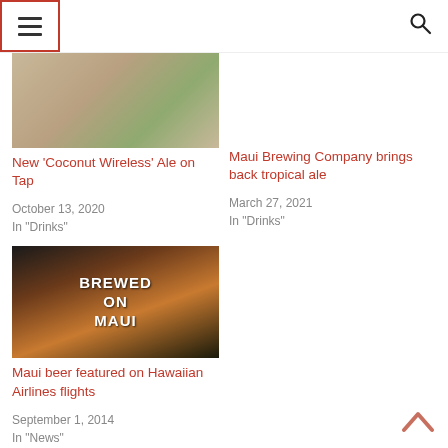Navigation bar with hamburger menu and search icon
[Figure (photo): Partially visible food/drink photo cropped at top, with yellow/green tones]
New ‘Coconut Wireless’ Ale on Tap
October 13, 2020
In "Drinks"
[Figure (photo): Partially visible drink/tropical photo]
Maui Brewing Company brings back tropical ale
March 27, 2021
In "Drinks"
[Figure (photo): Photo of a beer glass with text BREWED ON MAUI printed on it]
Maui beer featured on Hawaiian Airlines flights
September 1, 2014
In "News"